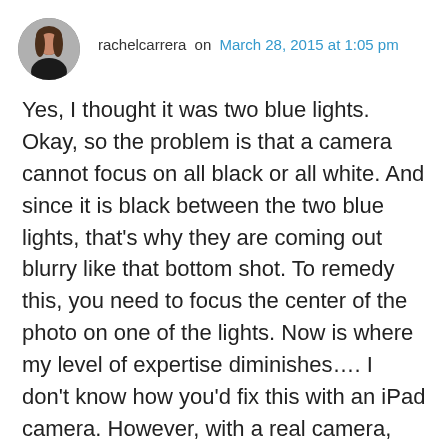rachelcarrera on March 28, 2015 at 1:05 pm
Yes, I thought it was two blue lights. Okay, so the problem is that a camera cannot focus on all black or all white. And since it is black between the two blue lights, that’s why they are coming out blurry like that bottom shot. To remedy this, you need to focus the center of the photo on one of the lights. Now is where my level of expertise diminishes…. I don’t know how you’d fix this with an iPad camera. However, with a real camera, you would hold down the button half way while you focused on the blue light in the center, then while still holding down the button, you’d move the camera to where the black was in the center, then push the button all the way down to snap